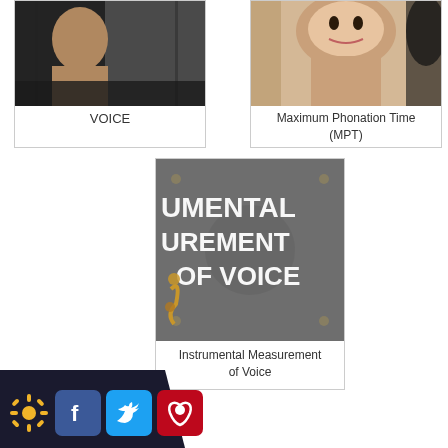[Figure (photo): Photo related to VOICE topic, person with dark hair]
VOICE
[Figure (photo): Photo for Maximum Phonation Time (MPT), person smiling]
Maximum Phonation Time (MPT)
[Figure (photo): Image with text overlay: UMENTAL UREMENT OF VOICE - Instrumental Measurement of Voice]
Instrumental Measurement of Voice